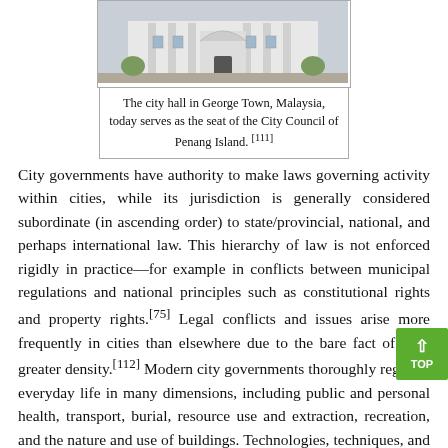[Figure (photo): Photo of the city hall in George Town, Malaysia — a white colonial-style building]
The city hall in George Town, Malaysia, today serves as the seat of the City Council of Penang Island. [111]
City governments have authority to make laws governing activity within cities, while its jurisdiction is generally considered subordinate (in ascending order) to state/provincial, national, and perhaps international law. This hierarchy of law is not enforced rigidly in practice—for example in conflicts between municipal regulations and national principles such as constitutional rights and property rights.[75] Legal conflicts and issues arise more frequently in cities than elsewhere due to the bare fact of their greater density.[112] Modern city governments thoroughly regulate everyday life in many dimensions, including public and personal health, transport, burial, resource use and extraction, recreation, and the nature and use of buildings. Technologies, techniques, and laws governing these areas—developed in cities—have become